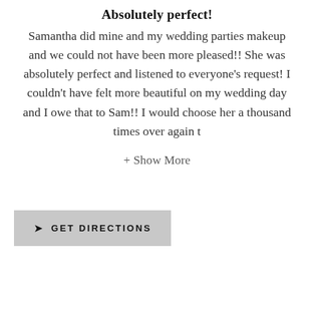Absolutely perfect!
Samantha did mine and my wedding parties makeup and we could not have been more pleased!! She was absolutely perfect and listened to everyone's request! I couldn't have felt more beautiful on my wedding day and I owe that to Sam!! I would choose her a thousand times over again t
+ Show More
GET DIRECTIONS